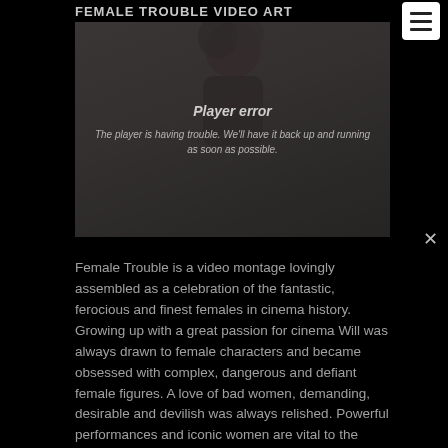FEMALE TROUBLE VIDEO ART
[Figure (screenshot): Video player showing a dark silhouette figure with a player error overlay message: 'Player error — The player is having trouble. We'll have it back up and running as soon as possible.' A close X button is visible in the top right of the overlay. A hamburger menu button (three horizontal lines) is overlaid in the upper-right corner.]
Female Trouble is a video montage lovingly assembled as a celebration of the fantastic, ferocious and finest females in cinema history. Growing up with a great passion for cinema Will was always drawn to female characters and became obsessed with complex, dangerous and defiant female figures. A love of bad women, demanding, desirable and devilish was always relished. Powerful performances and iconic women are vital to the movies